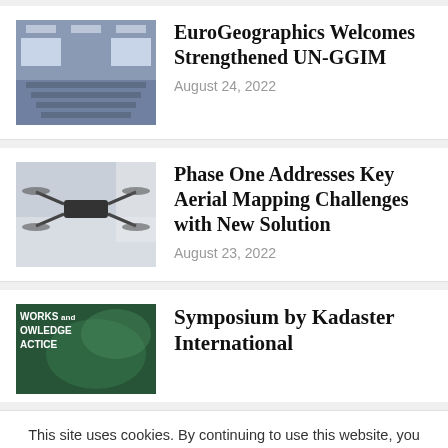[Figure (photo): Conference room with audience seats and screens]
EuroGeographics Welcomes Strengthened UN-GGIM
August 24, 2022
[Figure (photo): Drone flying against a sky background]
Phase One Addresses Key Aerial Mapping Challenges with New Solution
August 23, 2022
[Figure (photo): Book cover with text WORKS and KNOWLEDGE PRACTICE]
Symposium by Kadaster International
This site uses cookies. By continuing to use this website, you agree to our Cookies Policy. Agree
[Figure (photo): Partial image at bottom of page]